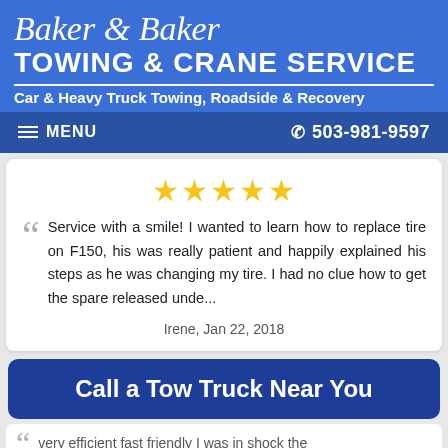Baker & Baker Towing & Crane Service - Car & Heavy Truck Towing, Roadside & Recovery
MENU | 503-981-9597
Service with a smile! I wanted to learn how to replace tire on F150, his was really patient and happily explained his steps as he was changing my tire. I had no clue how to get the spare released unde...
Irene, Jan 22, 2018
Call a Tow Truck Near You
very efficient fast friendly I was in shock the